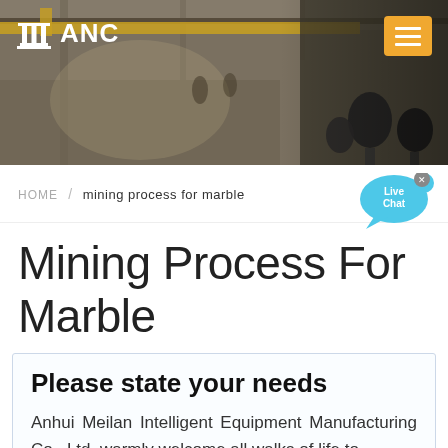[Figure (photo): Industrial factory/warehouse interior banner photo with overhead cranes and equipment, dark toned. ANC logo with column icon top left, orange hamburger menu button top right.]
HOME / mining process for marble
[Figure (illustration): Live Chat speech bubble icon in cyan/blue with 'Live Chat' text and a close X button]
Mining Process For Marble
Please state your needs
Anhui Meilan Intelligent Equipment Manufacturing Co., Ltd. warmly welcome all walks of life to